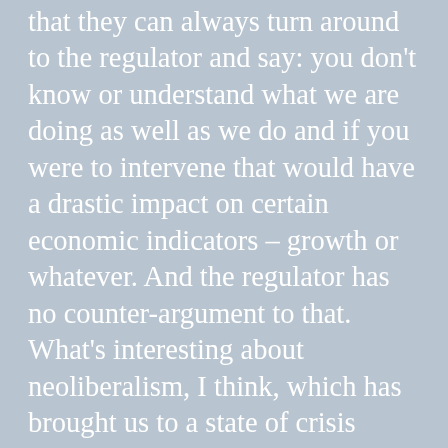that they can always turn around to the regulator and say: you don't know or understand what we are doing as well as we do and if you were to intervene that would have a drastic impact on certain economic indicators – growth or whatever. And the regulator has no counter-argument to that. What's interesting about neoliberalism, I think, which has brought us to a state of crisis which we seem unable to get out of, is that it has gutted the very bodies which might traditionally have had the authority to restore certain areas of our economy to a state of legitimacy. It has made it impossible for anyone to come along and claim that certain practices are